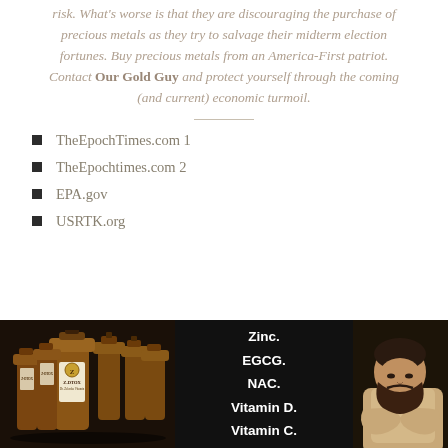risk. What's worse is that they are discouraging the purchase of precious metals as they try to salvage their midterm election fortunes. Buy precious metals from an America-First patriot. Contact Our Gold Guy and protect yourself through the coming (and current) economic turmoil.
TheEpochTimes.com 1
TheEpochtimes.com 2
EPA.gov
USRTK.org
[Figure (advertisement): Z-DTOX supplement advertisement with bottles on left, text listing Zinc, EGCG, NAC, Vitamin D, Vitamin C in center, and a bearded man on right, on black background]